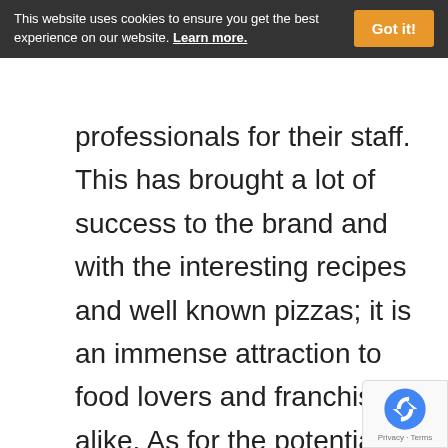This website uses cookies to ensure you get the best experience on our website. Learn more. Got it!
professionals for their staff. This has brought a lot of success to the brand and with the interesting recipes and well known pizzas; it is an immense attraction to food lovers and franchisees alike. As for the potential employees, here are some of the things you need to know about employment at
Imo's Pizza Job Position and Duties